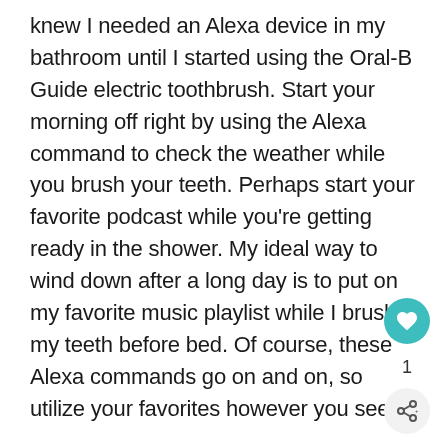knew I needed an Alexa device in my bathroom until I started using the Oral-B Guide electric toothbrush. Start your morning off right by using the Alexa command to check the weather while you brush your teeth. Perhaps start your favorite podcast while you're getting ready in the shower. My ideal way to wind down after a long day is to put on my favorite music playlist while I brush my teeth before bed. Of course, these Alexa commands go on and on, so utilize your favorites however you see fit.